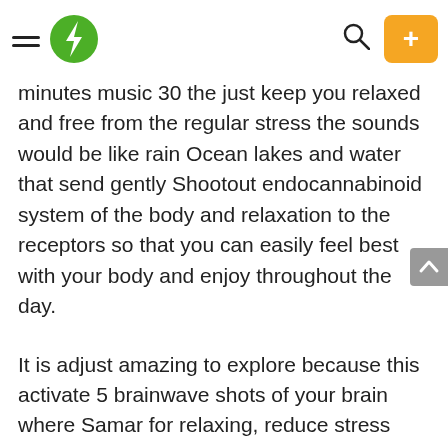[hamburger menu] [green lightning bolt logo] [search icon] [+ button]
minutes music 30 the just keep you relaxed and free from the regular stress the sounds would be like rain Ocean lakes and water that send gently Shootout endocannabinoid system of the body and relaxation to the receptors so that you can easily feel best with your body and enjoy throughout the day.
It is adjust amazing to explore because this activate 5 brainwave shots of your brain where Samar for relaxing, reduce stress pains and rebuilding tissues it is just another alternative of improving your brain credibility and giving you perfect results without using supplements and other methods you can uncover your future library of brainwave by